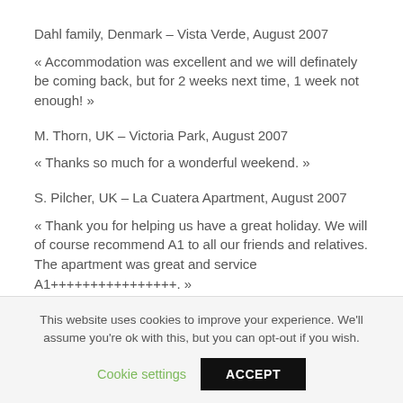Dahl family, Denmark – Vista Verde, August 2007
« Accommodation was excellent and we will definately be coming back, but for 2 weeks next time, 1 week not enough! »
M. Thorn, UK – Victoria Park, August 2007
« Thanks so much for a wonderful weekend. »
S. Pilcher, UK – La Cuatera Apartment, August 2007
« Thank you for helping us have a great holiday. We will of course recommend A1 to all our friends and relatives. The apartment was great and service A1++++++++++++++++. »
A. Mason, UK – Vista Verde Apartment, August 2007
This website uses cookies to improve your experience. We'll assume you're ok with this, but you can opt-out if you wish.